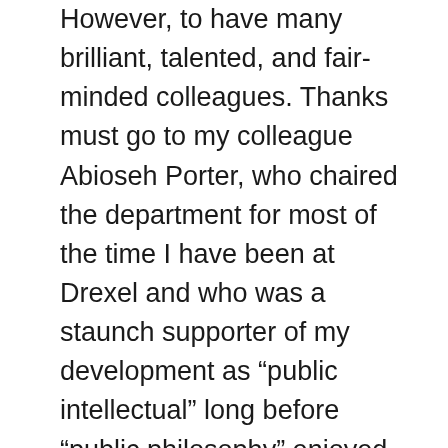However, to have many brilliant, talented, and fair-minded colleagues. Thanks must go to my colleague Abioseh Porter, who chaired the department for most of the time I have been at Drexel and who was a staunch supporter of my development as “public intellectual” long before “public philosophy” enjoyed the vogue it does today. Thanks must also go to the members of my promotion committee, but especially to my colleague Richard Astro, who chaired the committee. I know from merely serving on tenure-review committees that no matter how uncontroversial the final decision is anticipated to be, there is an enormous